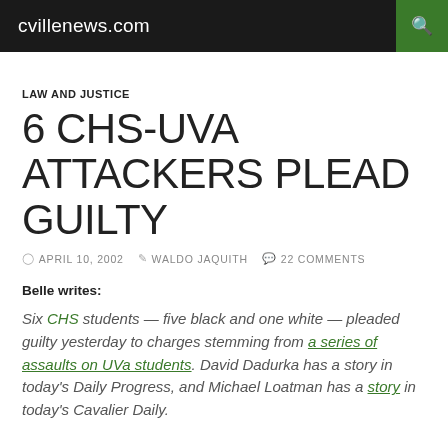cvillenews.com
LAW AND JUSTICE
6 CHS-UVA ATTACKERS PLEAD GUILTY
APRIL 10, 2002  WALDO JAQUITH  22 COMMENTS
Belle writes:
Six CHS students — five black and one white — pleaded guilty yesterday to charges stemming from a series of assaults on UVa students. David Dadurka has a story in today's Daily Progress, and Michael Loatman has a story in today's Cavalier Daily.